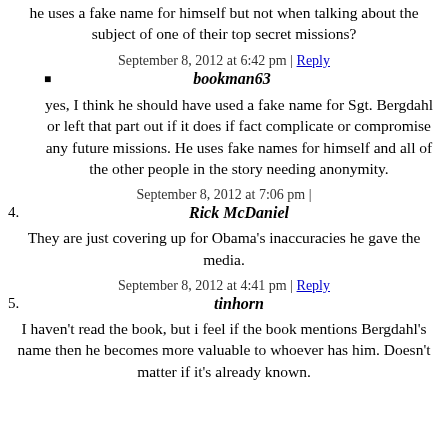he uses a fake name for himself but not when talking about the subject of one of their top secret missions?
September 8, 2012 at 6:42 pm | Reply
bookman63
yes, I think he should have used a fake name for Sgt. Bergdahl or left that part out if it does if fact complicate or compromise any future missions. He uses fake names for himself and all of the other people in the story needing anonymity.
September 8, 2012 at 7:06 pm |
4. Rick McDaniel
They are just covering up for Obama's inaccuracies he gave the media.
September 8, 2012 at 4:41 pm | Reply
5. tinhorn
I haven't read the book, but i feel if the book mentions Bergdahl's name then he becomes more valuable to whoever has him. Doesn't matter if it's already known.